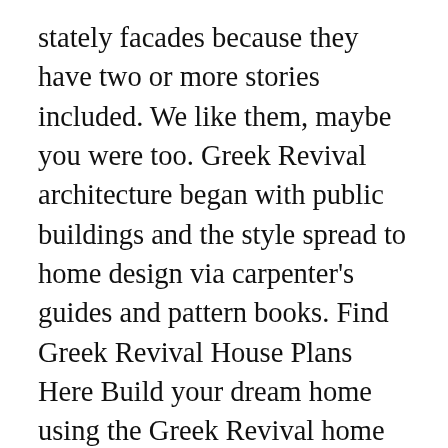stately facades because they have two or more stories included. We like them, maybe you were too. Greek Revival architecture began with public buildings and the style spread to home design via carpenter's guides and pattern books. Find Greek Revival House Plans Here Build your dream home using the Greek Revival home plans available for those looking for an open living space nestled within exquisite architecture. Floor Plan Ancient Greek House Vector Art More. The following 17 files are in this category, out of 17 total. The central courtyard was a wonderfully private place. A typical classical home plan features two stories (sometimes flanked by one story wings) and a grand entryway. The most common floor plan